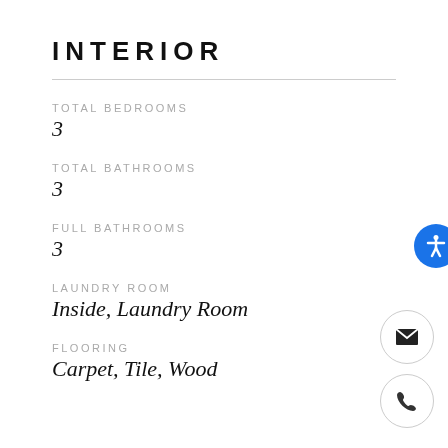INTERIOR
TOTAL BEDROOMS
3
TOTAL BATHROOMS
3
FULL BATHROOMS
3
LAUNDRY ROOM
Inside, Laundry Room
FLOORING
Carpet, Tile, Wood